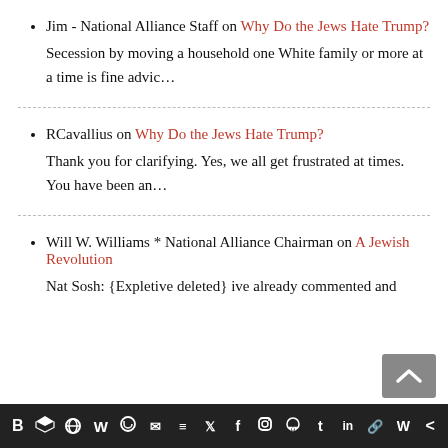Jim - National Alliance Staff on Why Do the Jews Hate Trump?
Secession by moving a household one White family or more at a time is fine advic…
RCavallius on Why Do the Jews Hate Trump?
Thank you for clarifying. Yes, we all get frustrated at times. You have been an…
Will W. Williams * National Alliance Chairman on A Jewish Revolution
Nat Sosh: {Expletive deleted} ive already commented and